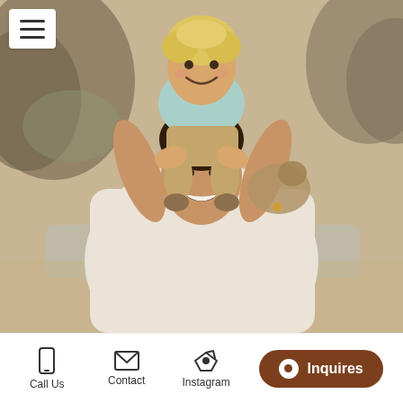[Figure (photo): A smiling man at a beach carrying a laughing toddler with curly blond hair on his shoulders. The man is wearing a white short-sleeve shirt with a small pattern. The toddler wears a light blue shirt. Rocky cliffs and water are visible in the blurred background.]
Call Us   Contact   Instagram   Inquires